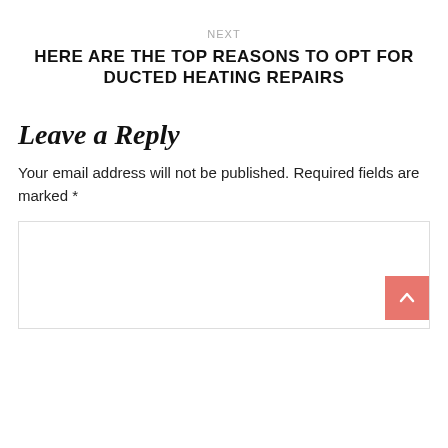NEXT
HERE ARE THE TOP REASONS TO OPT FOR DUCTED HEATING REPAIRS
Leave a Reply
Your email address will not be published. Required fields are marked *